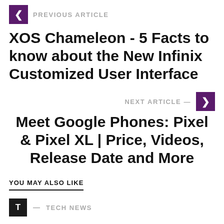← PREVIOUS ARTICLE
XOS Chameleon - 5 Facts to know about the New Infinix Customized User Interface
NEXT ARTICLE →
Meet Google Phones: Pixel & Pixel XL | Price, Videos, Release Date and More
YOU MAY ALSO LIKE
T — TECH NEWS
TECH+ Conference & Expo